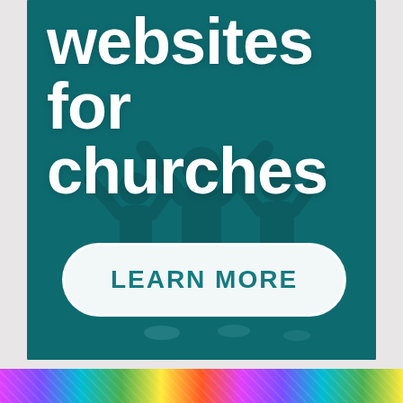[Figure (illustration): Advertisement banner with teal/dark cyan background showing silhouettes of people with raised hands (worship scene). Large white bold text reads 'websites for churches' with a white rounded-rectangle button at the bottom reading 'LEARN MORE' in teal. Below the banner is a colorful multicolored gradient strip.]
websites for churches
LEARN MORE